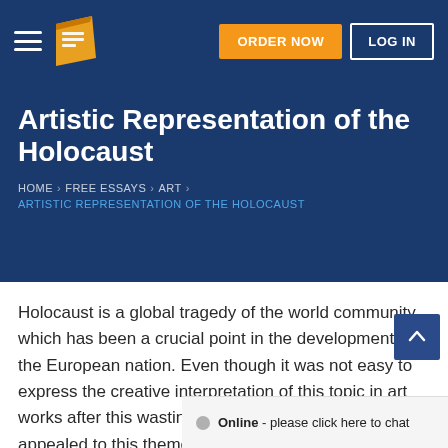ORDER NOW | LOG IN
Artistic Representation of the Holocaust
HOME > FREE ESSAYS > ART > ARTISTIC REPRESENTATION OF THE HOLOCAUST
Holocaust is a global tragedy of the world community, which has been a crucial point in the development of the European nation. Even though it was not easy to express the creative interpretation of this topic in art works after this wasting catastrophe, many artists appealed to this theme. Among them were Jewish painters, who have gone through the suffering and destitution, which how...